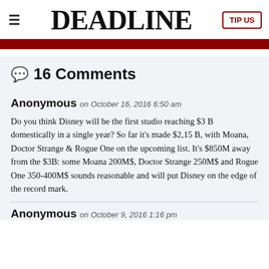DEADLINE | TIP US
💬 16 Comments
Anonymous on October 16, 2016 6:50 am
Do you think Disney will be the first studio reaching $3 B domestically in a single year? So far it's made $2,15 B, with Moana, Doctor Strange & Rogue One on the upcoming list. It's $850M away from the $3B: some Moana 200M$, Doctor Strange 250M$ and Rogue One 350-400M$ sounds reasonable and will put Disney on the edge of the record mark.
Anonymous on October 9, 2016 1:16 pm